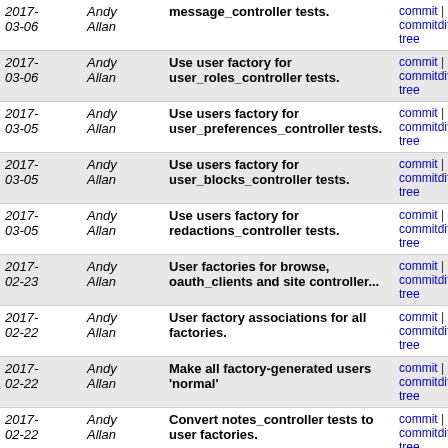| Date | Author | Message | Links |
| --- | --- | --- | --- |
| 2017-03-06 | Andy Allan | message_controller tests. | commit | commitdiff | tree |
| 2017-03-06 | Andy Allan | Use user factory for user_roles_controller tests. | commit | commitdiff | tree |
| 2017-03-05 | Andy Allan | Use users factory for user_preferences_controller tests. | commit | commitdiff | tree |
| 2017-03-05 | Andy Allan | Use users factory for user_blocks_controller tests. | commit | commitdiff | tree |
| 2017-03-05 | Andy Allan | Use users factory for redactions_controller tests. | commit | commitdiff | tree |
| 2017-02-23 | Andy Allan | User factories for browse, oauth_clients and site controller... | commit | commitdiff | tree |
| 2017-02-22 | Andy Allan | User factory associations for all factories. | commit | commitdiff | tree |
| 2017-02-22 | Andy Allan | Make all factory-generated users 'normal' | commit | commitdiff | tree |
| 2017-02-22 | Andy Allan | Convert notes_controller tests to user factories. | commit | commitdiff | tree |
| 2017-02-22 | Andy Allan | Revert changes where the user is a query parameter | commit | commitdiff | tree |
| 2017-02-22 | Andy Allan | Refactor api_controller tests to avoid users fixtures. | commit | commitdiff | tree |
| 2017-02-22 | Andy Allan | Refactor amf_controller tests to avoid users fixtures | commit | commitdiff | tree |
| 2017-02-22 | Andy Allan | Pass the user object, rather than the id, for sessions. | commit | commitdiff | tree |
| 2017-02-19 | Andy Allan | Refactor diary entry tests to use User factory. | commit | commitdiff | tree |